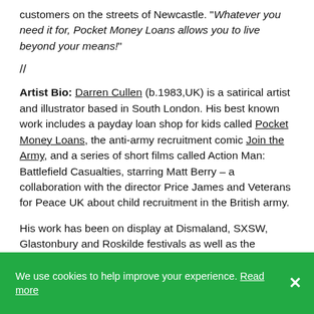customers on the streets of Newcastle. "Whatever you need it for, Pocket Money Loans allows you to live beyond your means!"
//
Artist Bio: Darren Cullen (b.1983,UK) is a satirical artist and illustrator based in South London. His best known work includes a payday loan shop for kids called Pocket Money Loans, the anti-army recruitment comic Join the Army, and a series of short films called Action Man: Battlefield Casualties, starring Matt Berry – a collaboration with the director Price James and Veterans for Peace UK about child recruitment in the British army.
His work has been on display at Dismaland, SXSW, Glastonbury and Roskilde festivals as well as the
We use cookies to help improve your experience. Read more ×